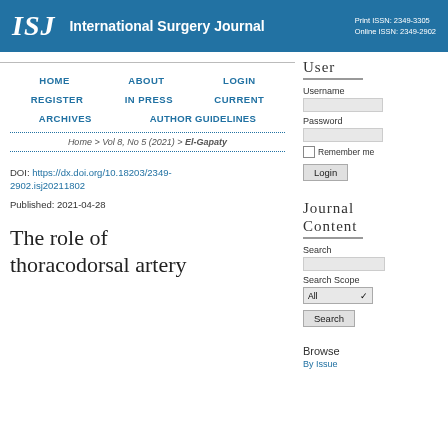ISJ International Surgery Journal | Print ISSN: 2349-3305 Online ISSN: 2349-2902
HOME   ABOUT   LOGIN   REGISTER   IN PRESS   CURRENT   ARCHIVES   AUTHOR GUIDELINES
Home > Vol 8, No 5 (2021) > El-Gapaty
DOI: https://dx.doi.org/10.18203/2349-2902.isj20211802
Published: 2021-04-28
The role of thoracodorsal artery
User
Username
Password
Remember me
Login
Journal Content
Search
Search Scope
All
Search
Browse
By Issue